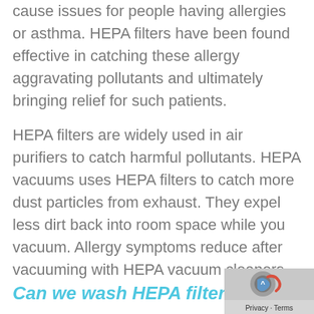cause issues for people having allergies or asthma. HEPA filters have been found effective in catching these allergy aggravating pollutants and ultimately bringing relief for such patients.
HEPA filters are widely used in air purifiers to catch harmful pollutants. HEPA vacuums uses HEPA filters to catch more dust particles from exhaust. They expel less dirt back into room space while you vacuum. Allergy symptoms reduce after vacuuming with HEPA vacuum cleaners.
Can we wash HEPA filter?